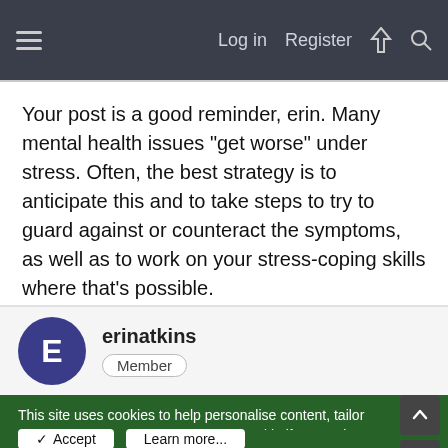Log in  Register
Your post is a good reminder, erin. Many mental health issues "get worse" under stress. Often, the best strategy is to anticipate this and to take steps to try to guard against or counteract the symptoms, as well as to work on your stress-coping skills where that's possible.

Do you have a counselor or therapist to assist you with this? If not, can you discuss it with your family doctor?
erinatkins
Member
This site uses cookies to help personalise content, tailor your experience and to keep you logged in if you register.
By continuing to use this site, you are consenting to our use of cookies.